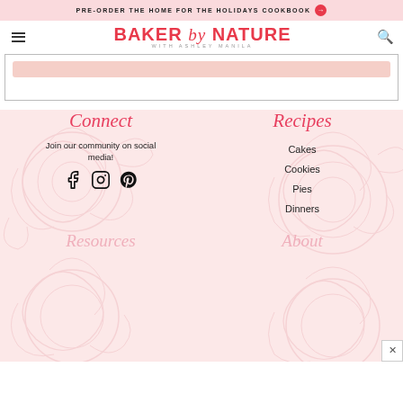PRE-ORDER THE HOME FOR THE HOLIDAYS COOKBOOK →
BAKER by NATURE WITH ASHLEY MANILA
[Figure (other): Partially visible content area with peach/pink decorative bar, bordered box]
Connect
Join our community on social media!
[Figure (other): Social media icons: Facebook, Instagram, Pinterest]
Recipes
Cakes
Cookies
Pies
Dinners
Resources
About